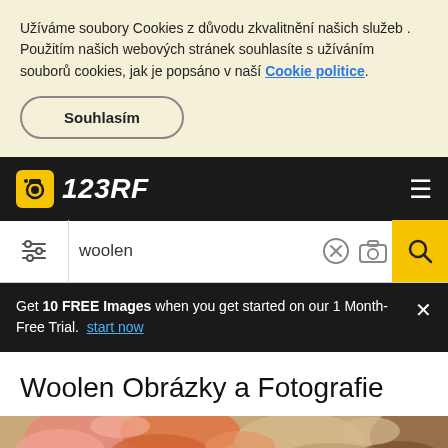Užíváme soubory Cookies z důvodu zkvalitnění našich služeb . Použitím našich webových stránek souhlasíte s užíváním souborů cookies, jak je popsáno v naší Cookie politice.
Souhlasím
[Figure (logo): 123RF logo with camera icon on black navigation bar]
woolen
Get 10 FREE Images when you get started on our 1 Month-Free Trial. start now
Woolen Obrázky a Fotografie
[Figure (photo): Colorful woolen yarn balls in a wicker basket, warm tones of orange, pink, brown and tan]